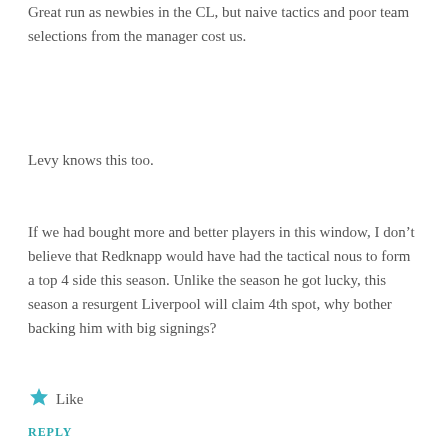Great run as newbies in the CL, but naive tactics and poor team selections from the manager cost us.
Levy knows this too.
If we had bought more and better players in this window, I don't believe that Redknapp would have had the tactical nous to form a top 4 side this season. Unlike the season he got lucky, this season a resurgent Liverpool will claim 4th spot, why bother backing him with big signings?
★ Like
REPLY